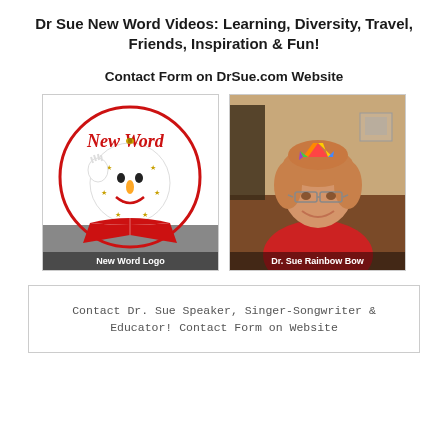Dr Sue New Word Videos: Learning, Diversity, Travel, Friends, Inspiration & Fun!
Contact Form on DrSue.com Website
[Figure (logo): New Word Logo — cartoon globe character with smiling face, holding an open red book, with red cursive 'New Word' text, inside a red circle]
New Word Logo
[Figure (photo): Dr. Sue smiling, wearing a red top, with rainbow bow filter on head, seated in front of a living room background]
Dr. Sue Rainbow Bow
Contact Dr. Sue Speaker, Singer-Songwriter & Educator! Contact Form on Website